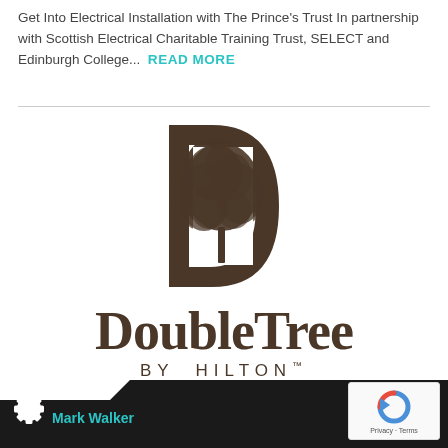Get Into Electrical Installation with The Prince's Trust In partnership with Scottish Electrical Charitable Training Trust, SELECT and Edinburgh College... READ MORE
[Figure (logo): DoubleTree by Hilton logo — a large stylized letter D with a detailed tree illustration inside it, followed by the text 'DoubleTree' in serif bold and 'BY HILTON™' in spaced sans-serif caps below]
Mark Walker